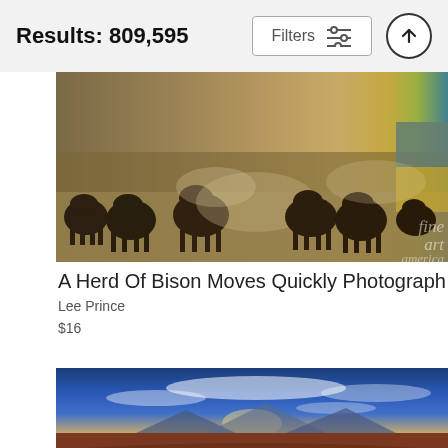Results: 809,595
A Herd Of Bison Moves Quickly Photograph
Lee Prince
$16
[Figure (photo): A herd of bison moving across a dusty landscape with water visible in the background, fine art america watermark]
[Figure (photo): Aerial panoramic view of Horseshoe Bend / Grand Canyon area with dramatic sky and Colorado River curving through red rock canyon formations]